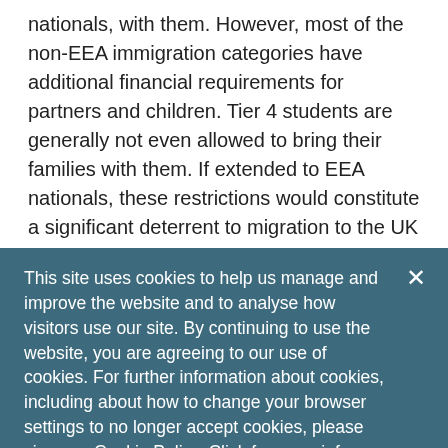nationals, with them. However, most of the non-EEA immigration categories have additional financial requirements for partners and children. Tier 4 students are generally not even allowed to bring their families with them. If extended to EEA nationals, these restrictions would constitute a significant deterrent to migration to the UK for many individuals.
Furthermore, non-EEA nationals are subjected to very expensive fees simply to make their applications and...
This site uses cookies to help us manage and improve the website and to analyse how visitors use our site. By continuing to use the website, you are agreeing to our use of cookies. For further information about cookies, including about how to change your browser settings to no longer accept cookies, please view our Cookie Policy. Click for more info